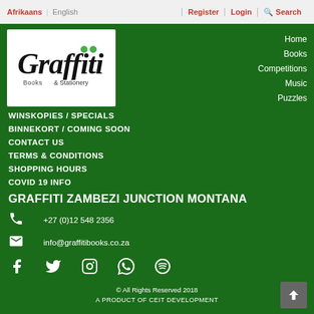Afrikaans | English | Register | Login | Search
[Figure (logo): Graffiti Books & Stationery logo — stylized handwritten 'Graffiti' text with two green dots, subtitle 'Books & Stationery']
Home
Books
Competitions
Music
Puzzles
WINSKOPIES / SPECIALS
BINNEKORT / COMING SOON
CONTACT US
TERMS & CONDITIONS
SHOPPING HOURS
COVID 19 INFO
GRAFFITI ZAMBEZI JUNCTION MONTANA
+27 (0)12 548 2356
info@graffitibooks.co.za
© All Rights Reserved 2018
A PRODUCT OF CEIT DEVELOPMENT